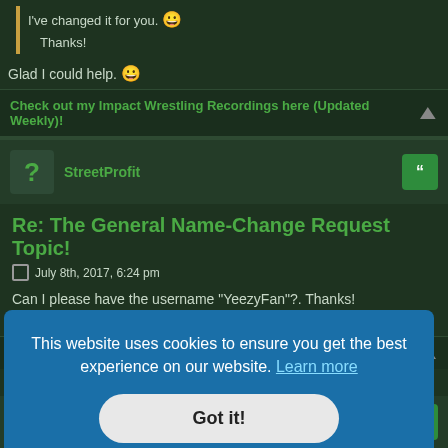I've changed it for you. 😀
Thanks!
Glad I could help. 😀
Check out my Impact Wrestling Recordings here (Updated Weekly)!
StreetProfit
Re: The General Name-Change Request Topic!
July 8th, 2017, 6:24 pm
Can I please have the username "YeezyFan"?. Thanks!
(Edited my grammar)
time in
This website uses cookies to ensure you get the best experience on our website. Learn more
Got it!
Re: The General Name-Change Request Topic!